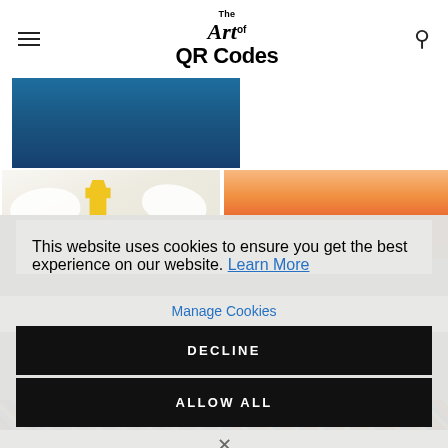The Art of QR Codes
[Figure (screenshot): Website screenshot showing The Art of QR Codes header with hamburger menu icon on left, logo in center, and search icon on right. Below are image thumbnails: a blue image, white hands with yellow hand, orange sunset, and colorful patterned images at bottom. A cookie consent modal overlays the page.]
This website uses cookies to ensure you get the best experience on our website. Learn More
Manage Cookies
DECLINE
ALLOW ALL